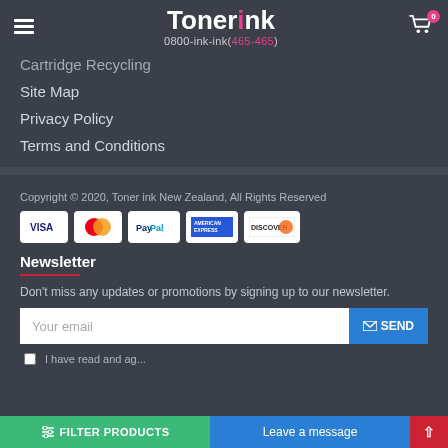Tonerink 0800-ink-ink(465-465)
Cartridge Recycling
Site Map
Privacy Policy
Terms and Conditions
Copyright © 2020, Toner ink New Zealand, All Rights Reserved
[Figure (other): Payment icons: VISA, Mastercard, PayPal, American Express, Discover]
Newsletter
Don't miss any updates or promotions by signing up to our newsletter.
Your email
SEND
I have read and ag...
FILTER PRODUCTS | Leave a message